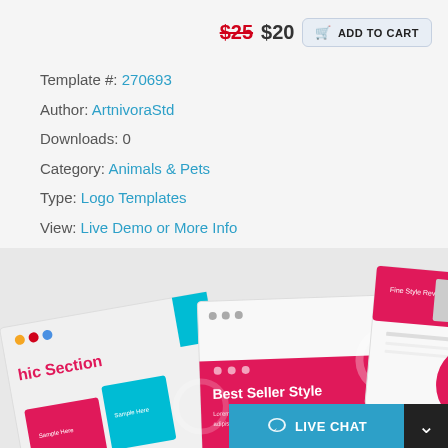$25 $20 ADD TO CART
Template #: 270693
Author: ArtnivoraStd
Downloads: 0
Category: Animals & Pets
Type: Logo Templates
View: Live Demo or More Info
Alternate Live Demo: Click Here
[Figure (screenshot): Preview of presentation template slides showing pink/teal design with 'hic Section' and 'Best Seller Style' text visible]
LIVE CHAT